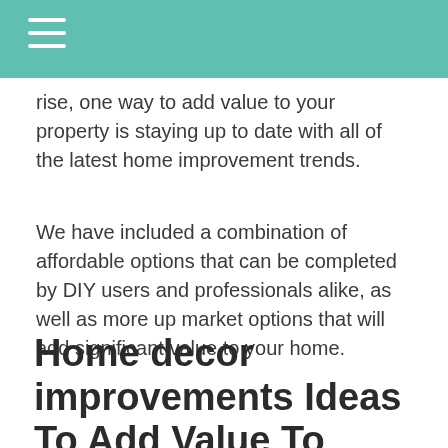rise, one way to add value to your property is staying up to date with all of the latest home improvement trends.
We have included a combination of affordable options that can be completed by DIY users and professionals alike, as well as more up market options that will add significant value to your home.
Home decor improvements Ideas To Add Value To Your Home
When potential buyers are viewing homes,